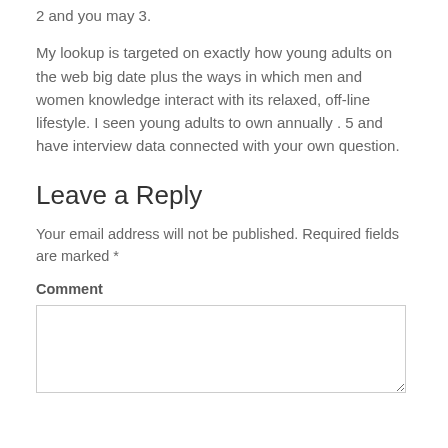2 and you may 3.
My lookup is targeted on exactly how young adults on the web big date plus the ways in which men and women knowledge interact with its relaxed, off-line lifestyle. I seen young adults to own annually . 5 and have interview data connected with your own question.
Leave a Reply
Your email address will not be published. Required fields are marked *
Comment